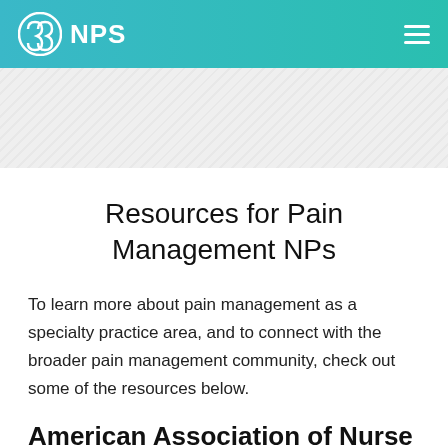NPS
[Figure (other): Diagonal striped grey banner hero image area]
Resources for Pain Management NPs
To learn more about pain management as a specialty practice area, and to connect with the broader pain management community, check out some of the resources below.
American Association of Nurse Practiti...